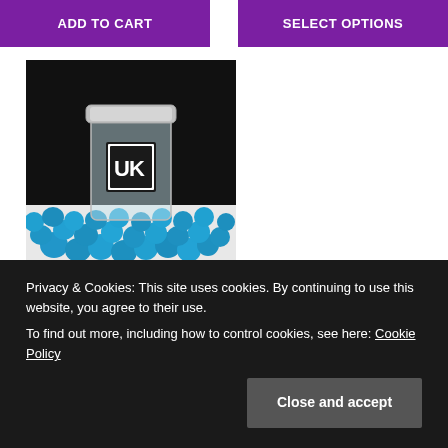ADD TO CART
SELECT OPTIONS
[Figure (photo): A clear plastic jar with a UK logo label, surrounded by blue round pellets/balls on a white surface against a black background.]
Privacy & Cookies: This site uses cookies. By continuing to use this website, you agree to their use.
To find out more, including how to control cookies, see here: Cookie Policy
Close and accept